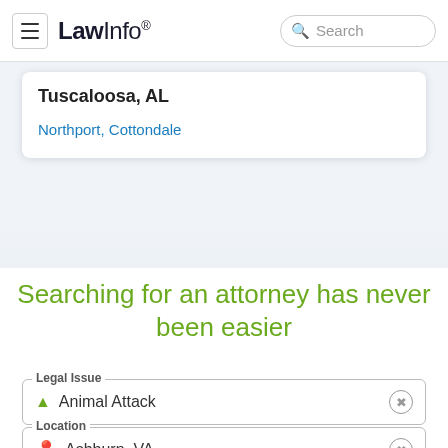LawInfo. Search
Tuscaloosa, AL
Northport, Cottondale
Searching for an attorney has never been easier
Legal Issue: Animal Attack
Location: Ashburn, VA